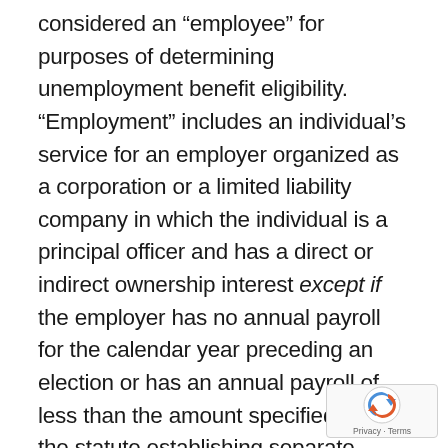considered an “employee” for purposes of determining unemployment benefit eligibility. “Employment” includes an individual’s service for an employer organized as a corporation or a limited liability company in which the individual is a principal officer and has a direct or indirect ownership interest except if the employer has no annual payroll for the calendar year preceding an election or has an annual payroll of less than the amount specified under the statute establishing separate solvency contribution rates, and the employer files a notice of election to exclude the service of all of its principal officers who have a direct or indirect substantial ownership interest in the corporation or